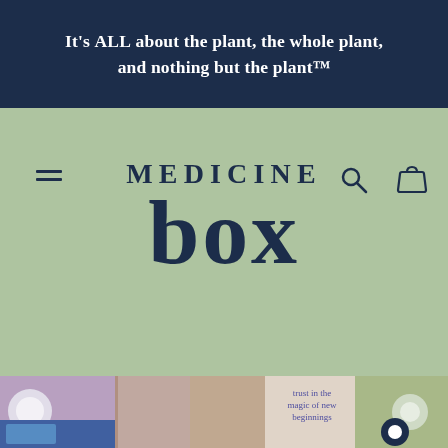It's ALL about the plant, the whole plant, and nothing but the plant™
[Figure (logo): Medicine Box brand logo with stylized text 'MEDICINE box' on sage green background, with hamburger menu icon on left and search/bag icons on right]
[Figure (photo): Collage of lifestyle photos including women with bohemian aesthetic, crystals, glitter, and text 'trust in the magic of new beginnings']